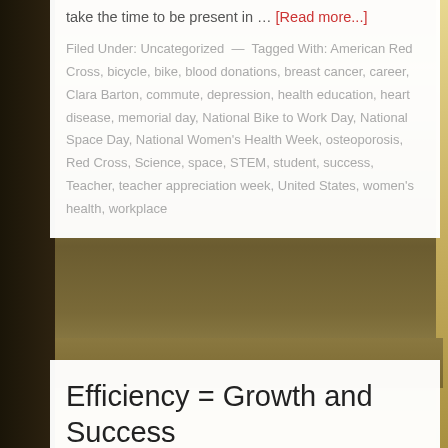take the time to be present in … [Read more...]
Filed Under: Uncategorized — Tagged With: American Red Cross, bicycle, bike, blood donations, breast cancer, career, Clara Barton, commute, depression, health education, heart disease, memorial day, National Bike to Work Day, National Space Day, National Women's Health Week, osteoporosis, Red Cross, Science, space, STEM, student, success, Teacher, teacher appreciation week, United States, women's health, workplace
Efficiency = Growth and Success